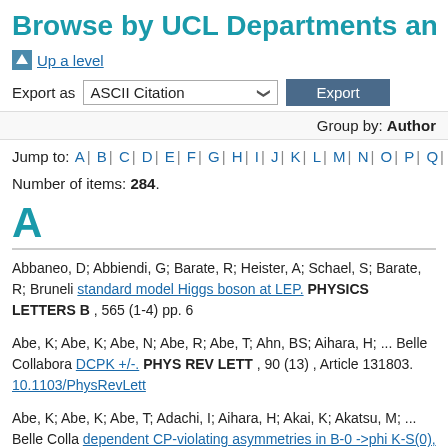Browse by UCL Departments and Ce
Up a level
Export as ASCII Citation | Export
Group by: Author
Jump to: A | B | C | D | E | F | G | H | I | J | K | L | M | N | O | P | Q | R | S | T | U | V
Number of items: 284.
A
Abbaneo, D; Abbiendi, G; Barate, R; Heister, A; Schael, S; Barate, R; Bruneli standard model Higgs boson at LEP. PHYSICS LETTERS B , 565 (1-4) pp. 6
Abe, K; Abe, K; Abe, N; Abe, R; Abe, T; Ahn, BS; Aihara, H; ... Belle Collabora DCPK +/-. PHYS REV LETT , 90 (13) , Article 131803. 10.1103/PhysRevLett
Abe, K; Abe, K; Abe, T; Adachi, I; Aihara, H; Akai, K; Akatsu, M; ... Belle Colla dependent CP-violating asymmetries in B-0 ->phi K-S(0), (K+K-KS0), and eta 261602. 10.1103/PhysRevLett.91.261602.